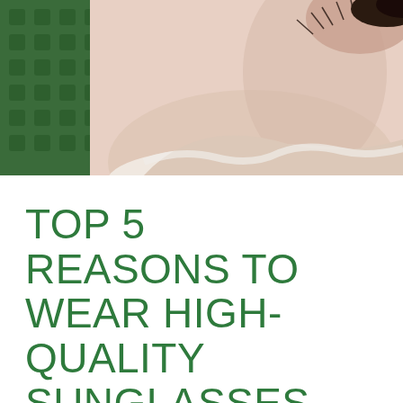[Figure (photo): Close-up photograph of a person's face near sunglasses, showing skin texture and eyelashes, with a green patterned background on the left]
TOP 5 REASONS TO WEAR HIGH-QUALITY SUNGLASSES
by Concord Eye Care Center | May 6, 2021 | Optical News